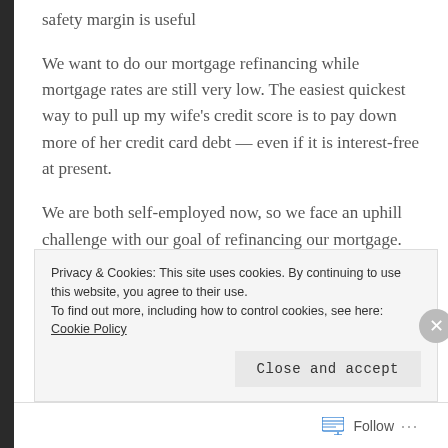safety margin is useful
We want to do our mortgage refinancing while mortgage rates are still very low. The easiest quickest way to pull up my wife's credit score is to pay down more of her credit card debt — even if it is interest-free at present.
We are both self-employed now, so we face an uphill challenge with our goal of refinancing our mortgage. Working together we hope to meet this challenge by having solid credit scores.
Privacy & Cookies: This site uses cookies. By continuing to use this website, you agree to their use.
To find out more, including how to control cookies, see here: Cookie Policy
Close and accept
Follow